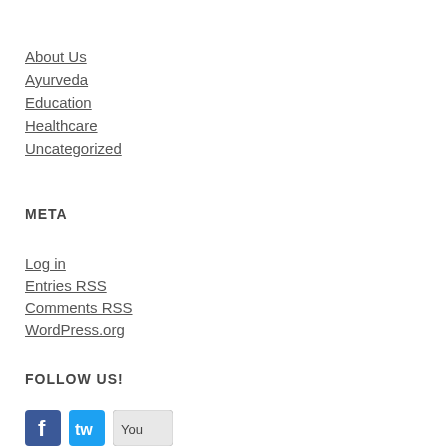About Us
Ayurveda
Education
Healthcare
Uncategorized
META
Log in
Entries RSS
Comments RSS
WordPress.org
FOLLOW US!
[Figure (other): Social media icons: Facebook, Twitter, YouTube]